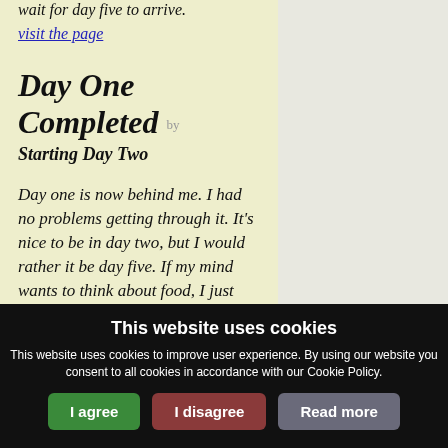wait for day five to arrive. visit the page
Day One Completed by Starting Day Two
Day one is now behind me. I had no problems getting through it. It's nice to be in day two, but I would rather it be day five. If my mind wants to think about food, I just make it
This website uses cookies
This website uses cookies to improve user experience. By using our website you consent to all cookies in accordance with our Cookie Policy.
I agree   I disagree   Read more